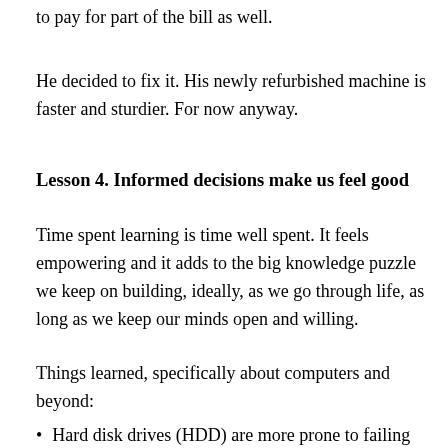to pay for part of the bill as well.
He decided to fix it. His newly refurbished machine is faster and sturdier. For now anyway.
Lesson 4. Informed decisions make us feel good
Time spent learning is time well spent. It feels empowering and it adds to the big knowledge puzzle we keep on building, ideally, as we go through life, as long as we keep our minds open and willing.
Things learned, specifically about computers and beyond:
Hard disk drives (HDD) are more prone to failing